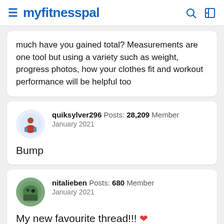myfitnesspal
much have you gained total? Measurements are one tool but using a variety such as weight, progress photos, how your clothes fit and workout performance will be helpful too
quiksylver296 Posts: 28,209 Member January 2021
Bump
nitalieben Posts: 680 Member January 2021
My new favourite thread!!! ❤️